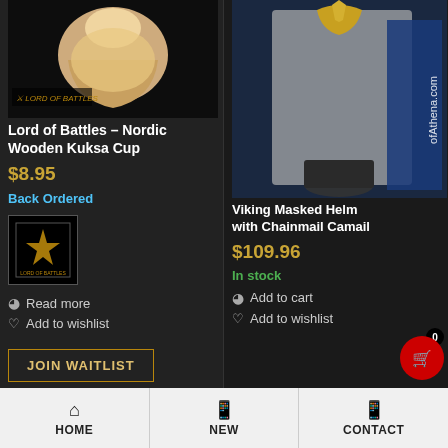[Figure (photo): Lord of Battles brand wooden kuksa cup product photo on dark background]
Lord of Battles – Nordic Wooden Kuksa Cup
$8.95
Back Ordered
[Figure (logo): Lord of Battles brand square logo badge on black background]
Read more
Add to wishlist
JOIN WAITLIST
[Figure (photo): Viking Masked Helm with Chainmail Camail product photo, chainmail coif on blue background with ofAthena.com watermark]
Viking Masked Helm with Chainmail Camail
$109.96
In stock
Add to cart
Add to wishlist
HOME  NEW  CONTACT